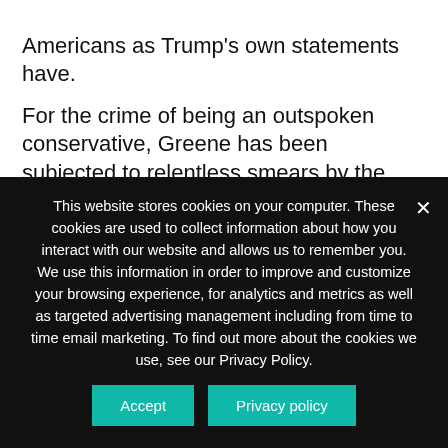Americans as Trump's own statements have.
For the crime of being an outspoken conservative, Greene has been subjected to relentless smears by the Left. All this fuss comes not to attack a Harvard-educated politician, but an average American who chose to get involved. Greene married in college and her husband runs a construction company while
This website stores cookies on your computer. These cookies are used to collect information about how you interact with our website and allows us to remember you. We use this information in order to improve and customize your browsing experience, for analytics and metrics as well as targeted advertising management including from time to time email marketing. To find out more about the cookies we use, see our Privacy Policy.